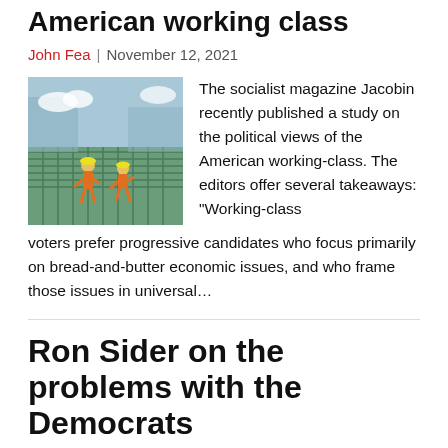American working class
John Fea  |  November 12, 2021
[Figure (photo): Construction workers on a job site with green rebar mesh]
The socialist magazine Jacobin recently published a study on the political views of the American working-class. The editors offer several takeaways: “Working-class voters prefer progressive candidates who focus primarily on bread-and-butter economic issues, and who frame those issues in universal…
Ron Sider on the problems with the Democrats
John Fea  |  November 11, 2021